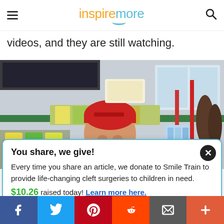inspiremore
videos, and they are still watching.
[Figure (photo): A smiling man in a red shirt and red beanie hat, working behind a store/market counter with shelves of products visible behind him.]
You share, we give! Every time you share an article, we donate to Smile Train to provide life-changing cleft surgeries to children in need. $10.26 raised today! Learn more here.